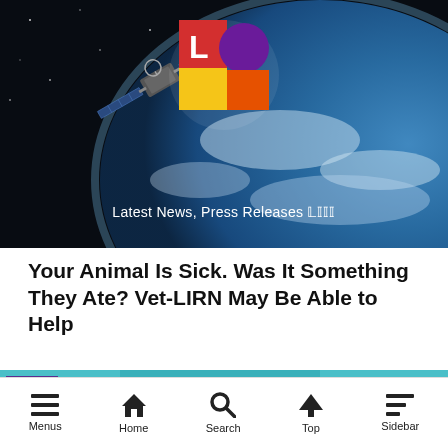[Figure (screenshot): Website header banner showing a satellite in space above Earth, with a logo overlay (red square with white L, yellow square, purple circle) and text 'Latest News, Press Releases 𝕃𝕀𝕀𝕀']
Your Animal Is Sick. Was It Something They Ate? Vet-LIRN May Be Able to Help
[Figure (photo): A veterinarian in teal scrubs examining a small brown and tan puppy. Overlaid with a red 'CASE CLOSED' stamp graphic. A purple badge with symbols appears in the top left corner.]
Menus   Home   Search   Top   Sidebar